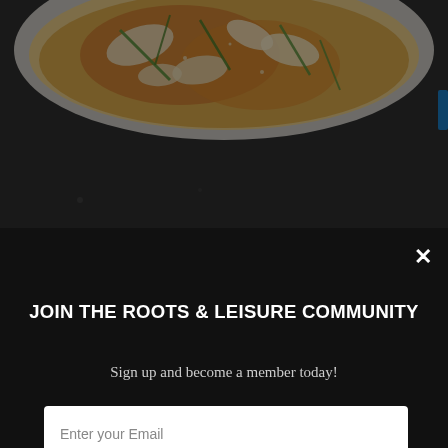[Figure (photo): Top portion of a food photo showing a bowl of Korean Kimchi with vegetables, cabbage, and green onions in a spicy sauce, viewed from above on a dark countertop.]
JOIN THE ROOTS & LEISURE COMMUNITY
Sign up and become a member today!
Enter your Email
SIGN UP
Published by Kumti   POWERED BY SUMO
Sometimes the best dishes are the easiest to make! Today we have one such recipe called Korean Kimchi.